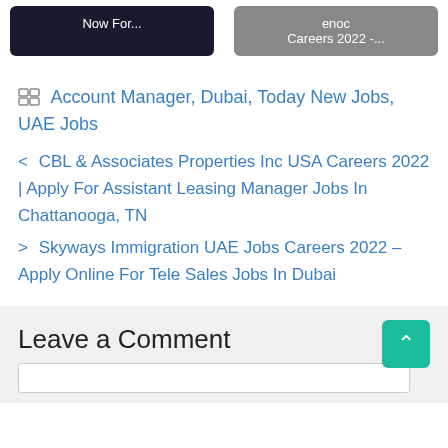[Figure (screenshot): Two buttons at top: dark button 'Now For...' and gray button 'enoc Careers 2022 -...']
Account Manager, Dubai, Today New Jobs, UAE Jobs
< CBL & Associates Properties Inc USA Careers 2022 | Apply For Assistant Leasing Manager Jobs In Chattanooga, TN
> Skyways Immigration UAE Jobs Careers 2022 – Apply Online For Tele Sales Jobs In Dubai
Leave a Comment